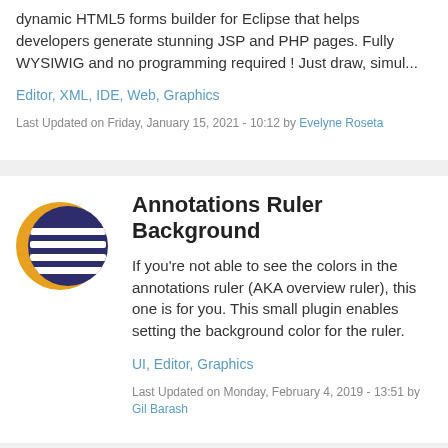dynamic HTML5 forms builder for Eclipse that helps developers generate stunning JSP and PHP pages. Fully WYSIWIG and no programming required ! Just draw, simul...
Editor, XML, IDE, Web, Graphics
Last Updated on Friday, January 15, 2021 - 10:12 by Evelyne Roseta
[Figure (logo): Eclipse IDE logo - dark blue circle with horizontal white stripes and orange crescent on left]
Annotations Ruler Background
If you're not able to see the colors in the annotations ruler (AKA overview ruler), this one is for you. This small plugin enables setting the background color for the ruler.
UI, Editor, Graphics
Last Updated on Monday, February 4, 2019 - 13:51 by Gil Barash